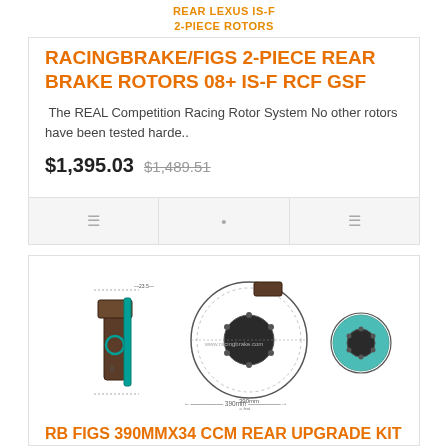REAR LEXUS IS-F
2-PIECE ROTORS
RACINGBRAKE/FIGS 2-PIECE REAR BRAKE ROTORS 08+ IS-F RCF GSF
The REAL Competition Racing Rotor System No other rotors have been tested harde..
$1,395.03  $1,489.51
[Figure (engineering-diagram): Technical engineering diagram of a brake rotor assembly showing front view, side cross-section, and rear view of a 2-piece brake rotor with caliper, dimensions indicated, watermark text visible]
RB FIGS 390MMx34 CCM REAR UPGRADE KIT